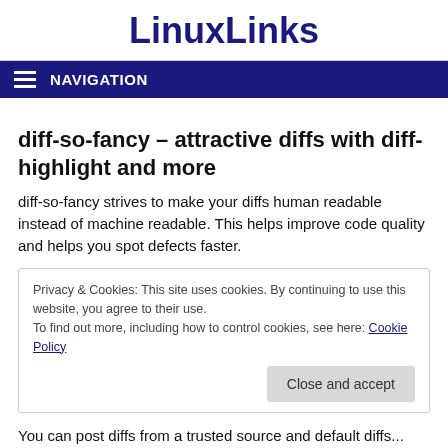LinuxLinks
NAVIGATION
diff-so-fancy – attractive diffs with diff-highlight and more
diff-so-fancy strives to make your diffs human readable instead of machine readable. This helps improve code quality and helps you spot defects faster.
Privacy & Cookies: This site uses cookies. By continuing to use this website, you agree to their use.
To find out more, including how to control cookies, see here: Cookie Policy
Close and accept
You can post diffs from a trusted source and default diffs...